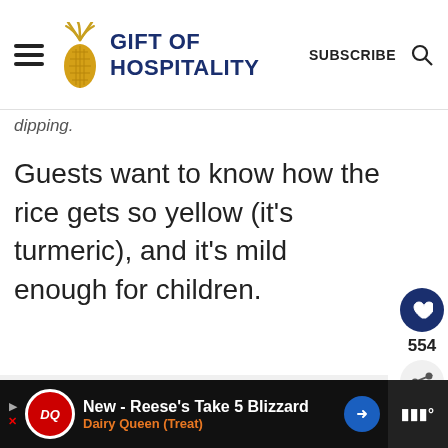GIFT OF HOSPITALITY | SUBSCRIBE
dipping.
Guests want to know how the rice gets so yellow (it’s turmeric), and it’s mild enough for children.
ADVERTISEMENT
554
WHAT’S NEXT → How to host a dinner party...
[Figure (other): DQ Dairy Queen advertisement banner: New - Reese's Take 5 Blizzard, Dairy Queen (Treat)]